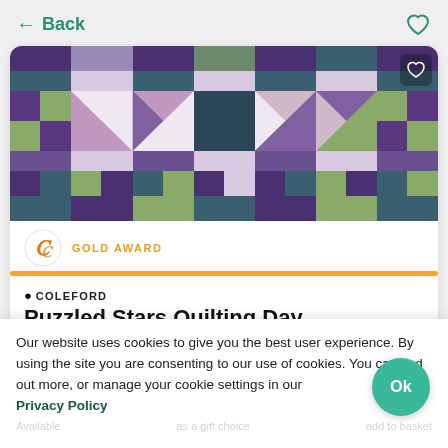← Back
[Figure (illustration): Quilt pattern image with purple, green, teal, and white star/pinwheel blocks arranged in a grid]
GOLD AWARD
COLEFORD
Puzzled Stars Quilting Day
Our website uses cookies to give you the best user experience. By using the site you are consenting to our use of cookies. You can find out more, or manage your cookie settings in our
Privacy Policy